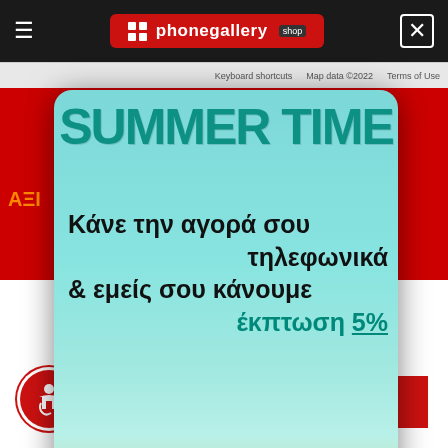phonegallery shop
Keyboard shortcuts   Map data ©2022   Terms of Use
[Figure (screenshot): Summer Time promotional popup for phonegallery.gr showing a beach/pool background with text in Greek: SUMMER TIME, Κάνε την αγορά σου τηλεφωνικά & εμείς σου κάνουμε έκπτωση 5%, with sunglasses graphic and phone number 2104444300]
Πολιτικής χρήσης Cookies.
ΠΕΡΙΣΣΟΤΕΡΑ
ΑΠΟΔΟΧΗ